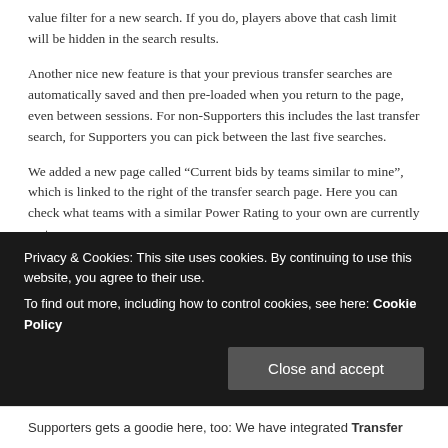value filter for a new search. If you do, players above that cash limit will be hidden in the search results.
Another nice new feature is that your previous transfer searches are automatically saved and then pre-loaded when you return to the page, even between sessions. For non-Supporters this includes the last transfer search, for Supporters you can pick between the last five searches.
We added a new page called “Current bids by teams similar to mine”, which is linked to the right of the transfer search page. Here you can check what teams with a similar Power Rating to your own are currently up to.
Finally, we moved the options for price and specialities in transfer search from Advanced search to the default search view.
The Transfer Search Results page
Some new stuff here as well. We now show a text when you have found
Privacy & Cookies: This site uses cookies. By continuing to use this website, you agree to their use.
To find out more, including how to control cookies, see here: Cookie Policy
Supporters gets a goodie here, too: We have integrated Transfer